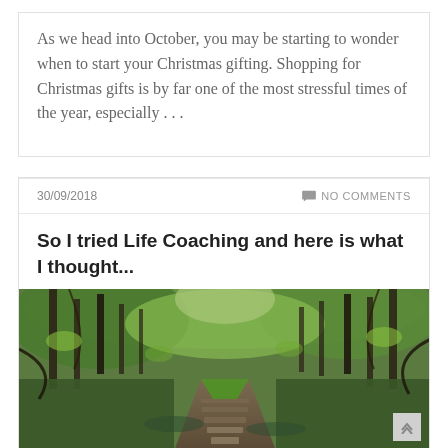As we head into October, you may be starting to wonder when to start your Christmas gifting. Shopping for Christmas gifts is by far one of the most stressful times of the year, especially ...
30/09/2018
NO COMMENTS
So I tried Life Coaching and here is what I thought...
[Figure (photo): A forest path with stepping stones leading through dense green and bare trees, outdoor autumn/woodland scene]